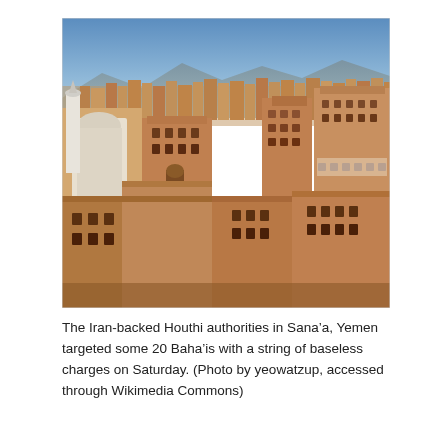[Figure (photo): Aerial/elevated view of the old city of Sana'a, Yemen, showing dense traditional multi-story mud-brick tower houses in sandy brown tones, with a mosque dome and minaret visible on the left, mountains in the hazy background under a blue sky.]
The Iran-backed Houthi authorities in Sana’a, Yemen targeted some 20 Baha’is with a string of baseless charges on Saturday. (Photo by yeowatzup, accessed through Wikimedia Commons)